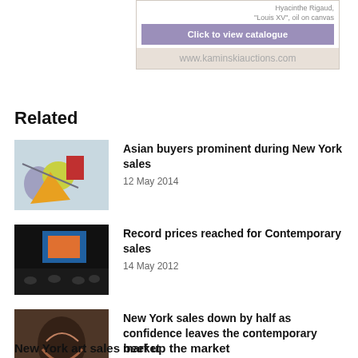Hyacinthe Rigaud, "Louis XV", oil on canvas
[Figure (illustration): Button saying Click to view catalogue on purple background]
www.kaminskiauctions.com
Related
[Figure (photo): Colorful abstract painting with figures]
Asian buyers prominent during New York sales
12 May 2014
[Figure (photo): Auction room with people and display board]
Record prices reached for Contemporary sales
14 May 2012
[Figure (photo): Dark abstract painting]
New York sales down by half as confidence leaves the contemporary market
17 November 2008
New York art sales beef up the market